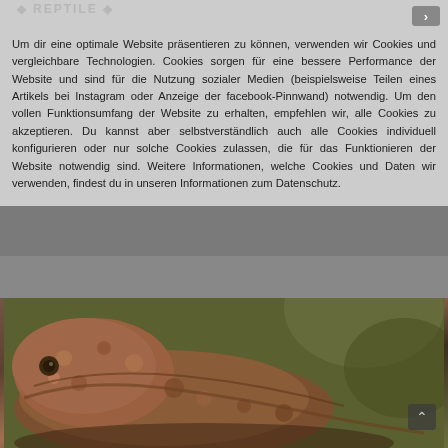Um dir eine optimale Website präsentieren zu können, verwenden wir Cookies und vergleichbare Technologien. Cookies sorgen für eine bessere Performance der Website und sind für die Nutzung sozialer Medien (beispielsweise Teilen eines Artikels bei Instagram oder Anzeige der facebook-Pinnwand) notwendig. Um den vollen Funktionsumfang der Website zu erhalten, empfehlen wir, alle Cookies zu akzeptieren. Du kannst aber selbstverständlich auch alle Cookies individuell konfigurieren oder nur solche Cookies zulassen, die für das Funktionieren der Website notwendig sind. Weitere Informationen, welche Cookies und Daten wir verwenden, findest du in unseren Informationen zum Datenschutz.
[Figure (photo): Close-up photograph of a chameleon or similar reptile with textured brown/orange skin against a dark olive-green background]